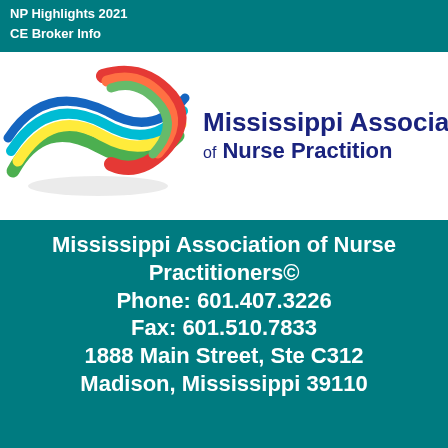NP Highlights 2021
CE Broker Info
[Figure (logo): Mississippi Association of Nurse Practitioners logo with colorful swoosh/wave graphic and blue bold text on white background]
Mississippi Association of Nurse Practitioners©
Phone: 601.407.3226
Fax: 601.510.7833
1888 Main Street, Ste C312
Madison, Mississippi 39110